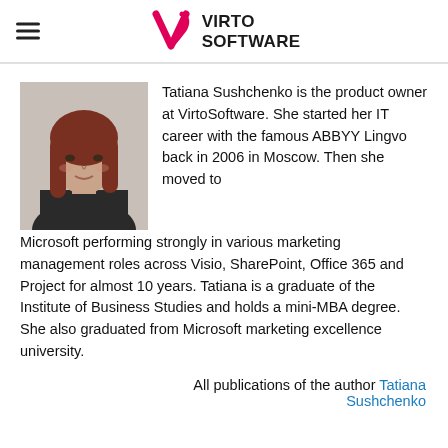VIRTO SOFTWARE
[Figure (photo): Photo of Tatiana Sushchenko, a woman with reddish-brown hair wearing a dark blazer, professional headshot against a neutral background.]
Tatiana Sushchenko is the product owner at VirtoSoftware. She started her IT career with the famous ABBYY Lingvo back in 2006 in Moscow. Then she moved to Microsoft performing strongly in various marketing management roles across Visio, SharePoint, Office 365 and Project for almost 10 years. Tatiana is a graduate of the Institute of Business Studies and holds a mini-MBA degree. She also graduated from Microsoft marketing excellence university.
All publications of the author Tatiana Sushchenko